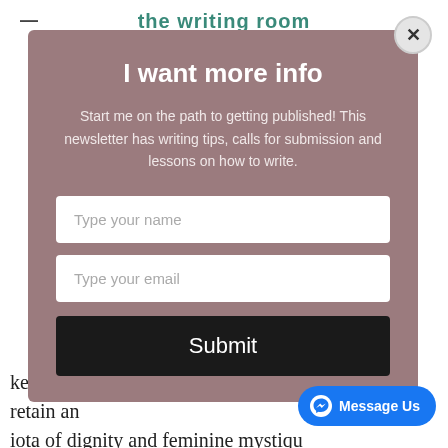the writing room
I want more info
Start me on the path to getting published! This newsletter has writing tips, calls for submission and lessons on how to write.
kept behind locked doors if you want to retain an iota of dignity and feminine mystiqu
[Figure (screenshot): Facebook Messenger 'Message Us' button in blue]